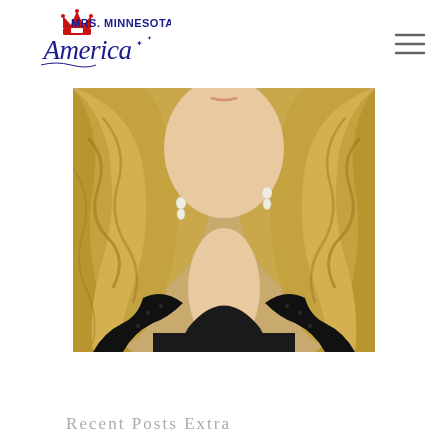Mrs. Minnesota America
[Figure (logo): Mrs. Minnesota America logo with crown icon and decorative script text]
[Figure (photo): Close-up photo of a blonde woman wearing a black lace dress with pearl drop earrings, hair in loose waves]
Recent Posts Extra